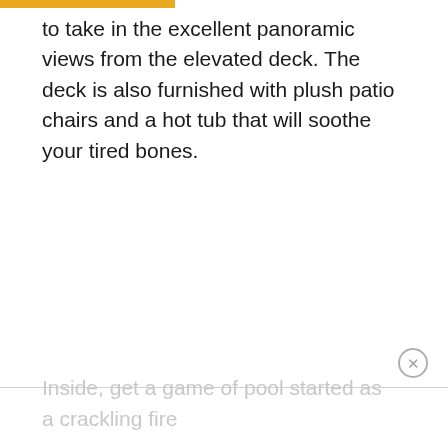to take in the excellent panoramic views from the elevated deck. The deck is also furnished with plush patio chairs and a hot tub that will soothe your tired bones.
Inside, get a game of pool started as a crackling fire